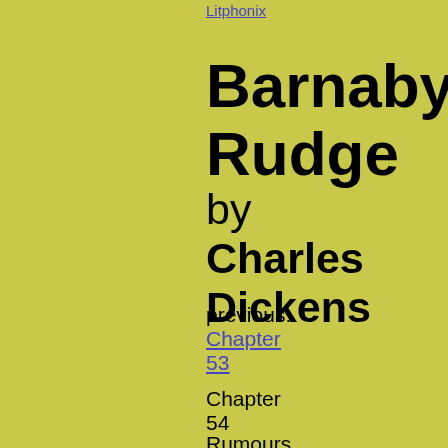Litphonix
Barnaby Rudge
by Charles Dickens
previous: Chapter 53
Chapter 54
Rumours